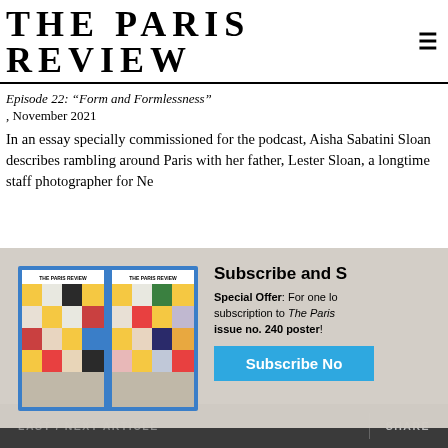THE PARIS REVIEW
Episode 22: “Form and Formlessness”
, November 2021
In an essay specially commissioned for the podcast, Aisha Sabatini Sloan describes rambling around Paris with her father, Lester Sloan, a longtime staff photographer for Ne
[Figure (screenshot): Subscription modal with two Paris Review magazine covers showing colorful grid/block pattern covers, alongside text: Subscribe and S... Special Offer: For one l... subscription to The Paris... issue no. 240 poster! and a blue Subscribe No... button]
00:0
LAST / NEXT ARTICLE    SHARE